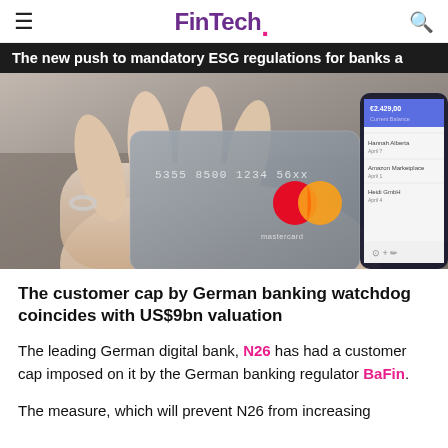FinTech.
The new push to mandatory ESG regulations for banks a
[Figure (photo): A hand holding a Mastercard credit card (card number 5355 8500 1234 56xx) with a smartphone showing a banking app with balance €2,429.00 and transaction list (Hannah Alberta, Amazon Marketplace, Heidi GmbH) visible in the background.]
The customer cap by German banking watchdog coincides with US$9bn valuation
The leading German digital bank, N26 has had a customer cap imposed on it by the German banking regulator BaFin.
The measure, which will prevent N26 from increasing